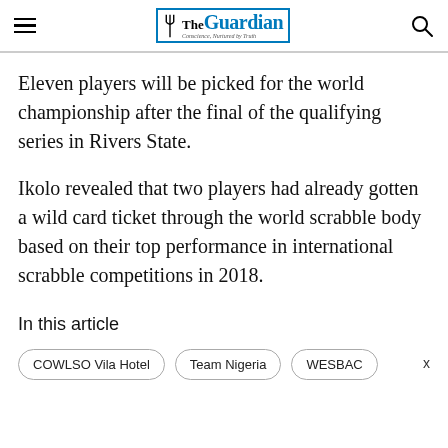The Guardian — Conscience, Nurtured by Truth
Eleven players will be picked for the world championship after the final of the qualifying series in Rivers State.
Ikolo revealed that two players had already gotten a wild card ticket through the world scrabble body based on their top performance in international scrabble competitions in 2018.
In this article
COWLSO Vila Hotel   Team Nigeria   WESBAC